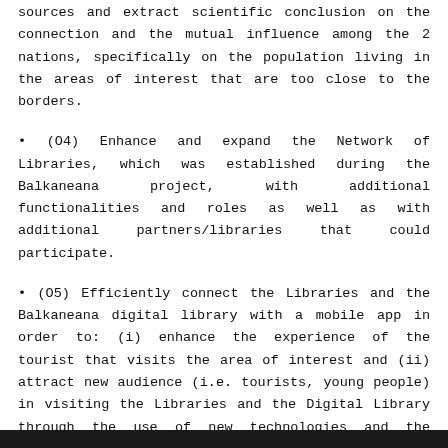sources and extract scientific conclusion on the connection and the mutual influence among the 2 nations, specifically on the population living in the areas of interest that are too close to the borders.
• (O4) Enhance and expand the Network of Libraries, which was established during the Balkaneana project, with additional functionalities and roles as well as with additional partners/libraries that could participate.
• (O5) Efficiently connect the Libraries and the Balkaneana digital library with a mobile app in order to: (i) enhance the experience of the tourist that visits the area of interest and (ii) attract new audience (i.e. tourists, young people) in visiting the Libraries and the Digital Library through the use of new technologies and the EXPLORAL interactive content.